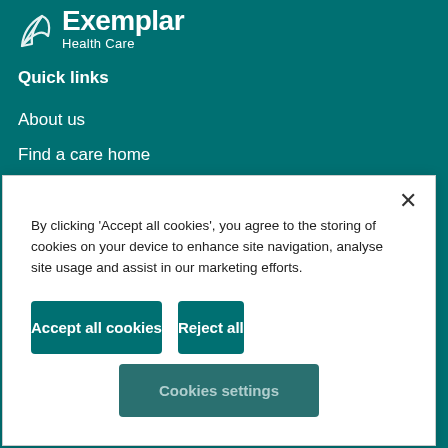[Figure (logo): Exemplar Health Care logo with stylized bird/leaf icon and company name]
Quick links
About us
Find a care home
Find a job
By clicking 'Accept all cookies', you agree to the storing of cookies on your device to enhance site navigation, analyse site usage and assist in our marketing efforts.
Accept all cookies
Reject all
Cookies settings
Terms and conditions